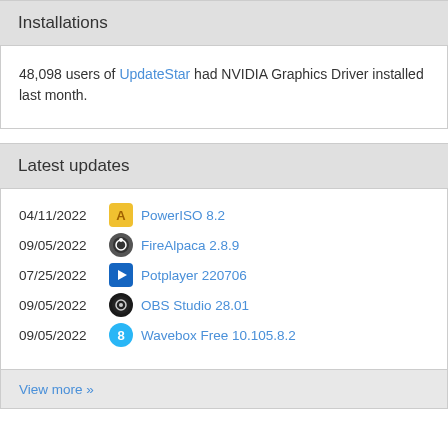Installations
48,098 users of UpdateStar had NVIDIA Graphics Driver installed last month.
Latest updates
04/11/2022 PowerISO 8.2
09/05/2022 FireAlpaca 2.8.9
07/25/2022 Potplayer 220706
09/05/2022 OBS Studio 28.01
09/05/2022 Wavebox Free 10.105.8.2
View more »